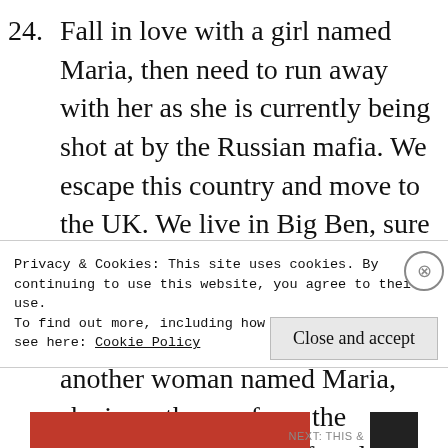24. Fall in love with a girl named Maria, then need to run away with her as she is currently being shot at by the Russian mafia. We escape this country and move to the UK. We live in Big Ben, sure the sound is horrible and makes it hard to sleep, but it is a life. While there I fall in love with another woman named Maria, she is on the run from the gestapo, not to be confused with gazpacho, the first Maria's favorite
Privacy & Cookies: This site uses cookies. By continuing to use this website, you agree to their use.
To find out more, including how to control cookies, see here: Cookie Policy
Close and accept